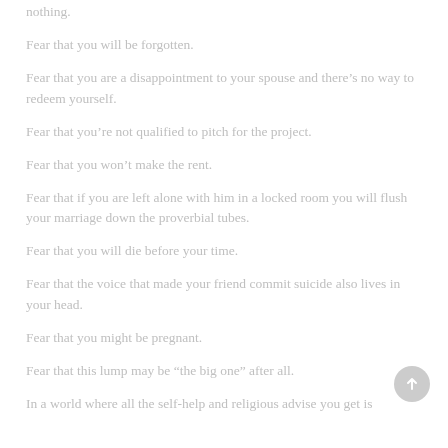nothing.
Fear that you will be forgotten.
Fear that you are a disappointment to your spouse and there’s no way to redeem yourself.
Fear that you’re not qualified to pitch for the project.
Fear that you won’t make the rent.
Fear that if you are left alone with him in a locked room you will flush your marriage down the proverbial tubes.
Fear that you will die before your time.
Fear that the voice that made your friend commit suicide also lives in your head.
Fear that you might be pregnant.
Fear that this lump may be “the big one” after all.
In a world where all the self-help and religious advise you get is